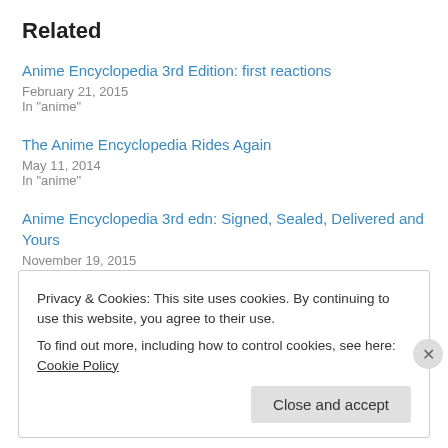Related
Anime Encyclopedia 3rd Edition: first reactions
February 21, 2015
In "anime"
The Anime Encyclopedia Rides Again
May 11, 2014
In "anime"
Anime Encyclopedia 3rd edn: Signed, Sealed, Delivered and Yours
November 19, 2015
In "anime"
Privacy & Cookies: This site uses cookies. By continuing to use this website, you agree to their use.
To find out more, including how to control cookies, see here: Cookie Policy